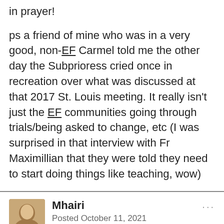in prayer!
ps a friend of mine who was in a very good, non-EF Carmel told me the other day the Subprioress cried once in recreation over what was discussed at that 2017 St. Louis meeting. It really isn't just the EF communities going through trials/being asked to change, etc (I was surprised in that interview with Fr Maximillian that they were told they need to start doing things like teaching, wow)
Mhairi
Posted October 11, 2021
I have just watched the video which I think dates